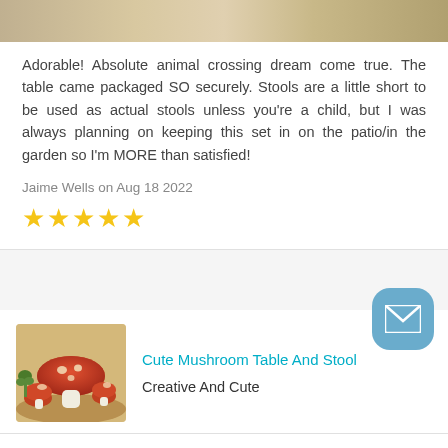[Figure (photo): Top portion of a product image, partially visible at the top of the page]
Adorable! Absolute animal crossing dream come true. The table came packaged SO securely. Stools are a little short to be used as actual stools unless you’re a child, but I was always planning on keeping this set in on the patio/in the garden so I’m MORE than satisfied!
Jaime Wells on Aug 18 2022
★★★★★
[Figure (photo): Mushroom table and stool set product thumbnail image]
Cute Mushroom Table And Stool
Creative And Cute